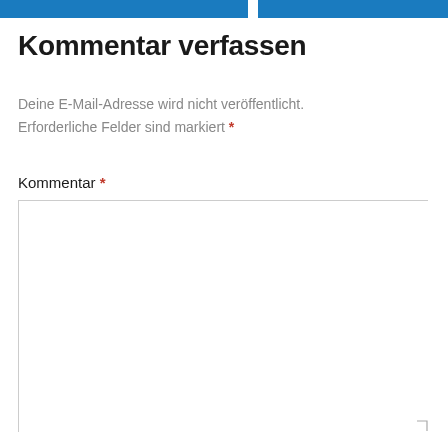Kommentar verfassen
Deine E-Mail-Adresse wird nicht veröffentlicht. Erforderliche Felder sind markiert *
Kommentar *